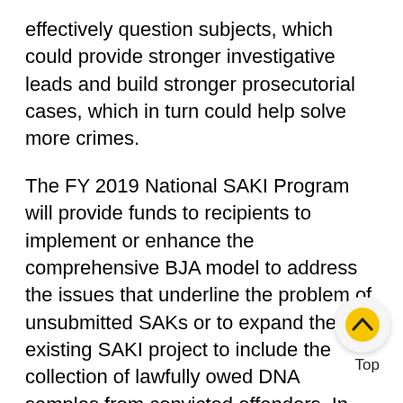effectively question subjects, which could provide stronger investigative leads and build stronger prosecutorial cases, which in turn could help solve more crimes.
The FY 2019 National SAKI Program will provide funds to recipients to implement or enhance the comprehensive BJA model to address the issues that underline the problem of unsubmitted SAKs or to expand their existing SAKI project to include the collection of lawfully owed DNA samples from convicted offenders. In FY 2019, National SAKI Program funding is available under four Purpose Areas.
Recipients under Purpose Area 1: Comprehensive Approach to Unsubmitted Sexual Assault Kits wil...